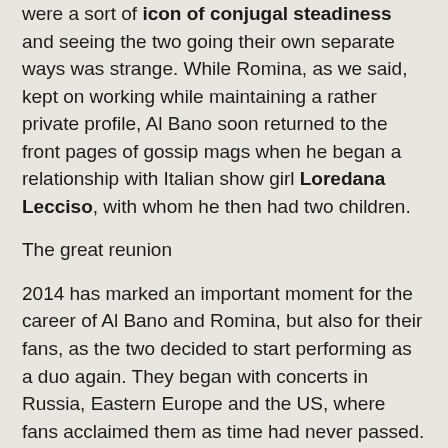were a sort of icon of conjugal steadiness and seeing the two going their own separate ways was strange. While Romina, as we said, kept on working while maintaining a rather private profile, Al Bano soon returned to the front pages of gossip mags when he began a relationship with Italian show girl Loredana Lecciso, with whom he then had two children.
The great reunion
2014 has marked an important moment for the career of Al Bano and Romina, but also for their fans, as the two decided to start performing as a duo again. They began with concerts in Russia, Eastern Europe and the US, where fans acclaimed them as time had never passed. Then, in February 2015, their artistic partnership became official with their appearance as special guests at the Festival di Sanremo, where they perfomed fantastically, showing the same verve and complicity on stage that had